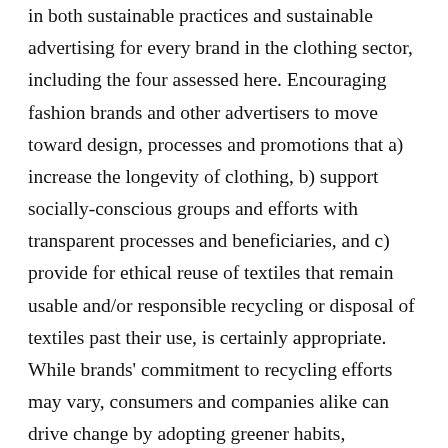in both sustainable practices and sustainable advertising for every brand in the clothing sector, including the four assessed here. Encouraging fashion brands and other advertisers to move toward design, processes and promotions that a) increase the longevity of clothing, b) support socially-conscious groups and efforts with transparent processes and beneficiaries, and c) provide for ethical reuse of textiles that remain usable and/or responsible recycling or disposal of textiles past their use, is certainly appropriate. While brands' commitment to recycling efforts may vary, consumers and companies alike can drive change by adopting greener habits, supporting recycling initiatives within and beyond brands' programmes, and holding brands and the industry accountable for structural change. And while fashion brands still have a long way to go before their recycling efforts are truly